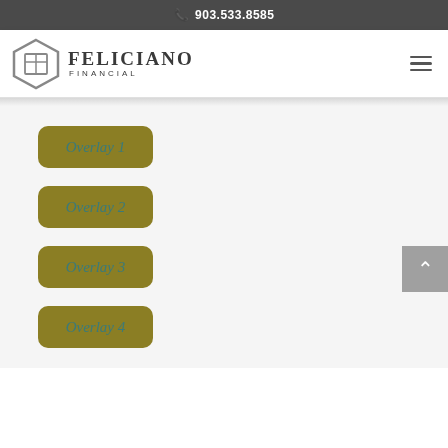903.533.8585
[Figure (logo): Feliciano Financial logo with hexagonal box icon and company name]
Overlay 1
Overlay 2
Overlay 3
Overlay 4